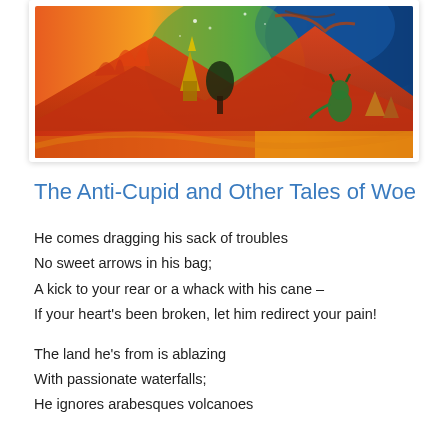[Figure (illustration): Colorful expressionist painting with vivid reds, oranges, blues and greens depicting fantastical figures, structures that resemble temples or buildings, a large fiery mountain landscape, swirling sky, and a green demon-like figure on the right side.]
The Anti-Cupid and Other Tales of Woe
He comes dragging his sack of troubles
No sweet arrows in his bag;
A kick to your rear or a whack with his cane –
If your heart's been broken, let him redirect your pain!

The land he's from is ablazing
With passionate waterfalls;
He ignores arabesques volcanoes